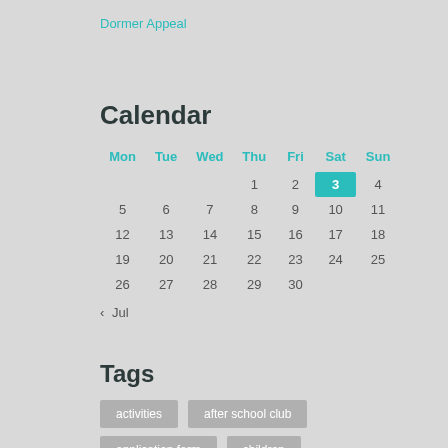Dormer Appeal
Calendar
| Mon | Tue | Wed | Thu | Fri | Sat | Sun |
| --- | --- | --- | --- | --- | --- | --- |
|  |  |  | 1 | 2 | 3 | 4 |
| 5 | 6 | 7 | 8 | 9 | 10 | 11 |
| 12 | 13 | 14 | 15 | 16 | 17 | 18 |
| 19 | 20 | 21 | 22 | 23 | 24 | 25 |
| 26 | 27 | 28 | 29 | 30 |  |  |
< Jul
Tags
activities
after school club
application form
children